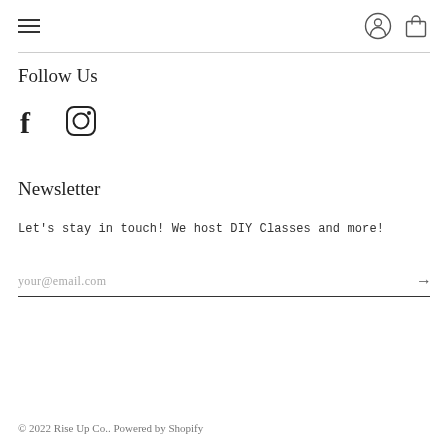Navigation bar with hamburger menu, user icon, and shopping bag icon
Follow Us
[Figure (illustration): Facebook and Instagram social media icons]
Newsletter
Let's stay in touch! We host DIY Classes and more!
your@email.com
© 2022 Rise Up Co.. Powered by Shopify